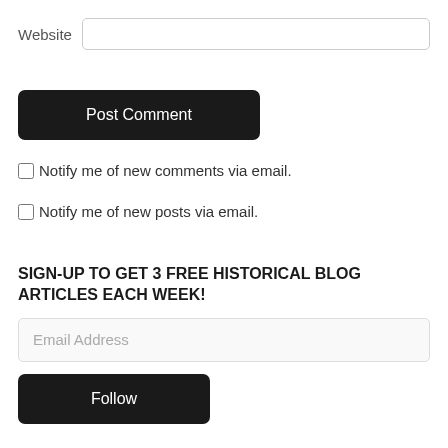Website
Post Comment
Notify me of new comments via email.
Notify me of new posts via email.
SIGN-UP TO GET 3 FREE HISTORICAL BLOG ARTICLES EACH WEEK!
Email Address
Follow